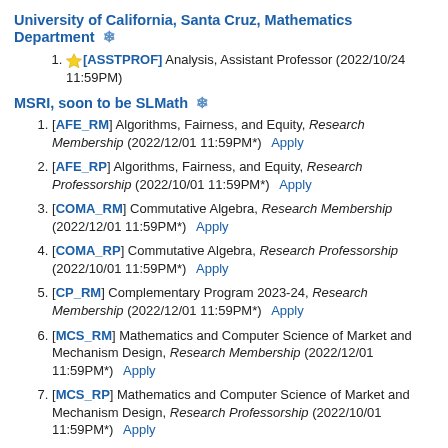University of California, Santa Cruz, Mathematics Department ❄
[ASSTPROF] Analysis, Assistant Professor (2022/10/24 11:59PM)
MSRI, soon to be SLMath ❄
[AFE_RM] Algorithms, Fairness, and Equity, Research Membership (2022/12/01 11:59PM*)  Apply
[AFE_RP] Algorithms, Fairness, and Equity, Research Professorship (2022/10/01 11:59PM*)  Apply
[COMA_RM] Commutative Algebra, Research Membership (2022/12/01 11:59PM*)  Apply
[COMA_RP] Commutative Algebra, Research Professorship (2022/10/01 11:59PM*)  Apply
[CP_RM] Complementary Program 2023-24, Research Membership (2022/12/01 11:59PM*)  Apply
[MCS_RM] Mathematics and Computer Science of Market and Mechanism Design, Research Membership (2022/12/01 11:59PM*)  Apply
[MCS_RP] Mathematics and Computer Science of Market and Mechanism Design, Research Professorship (2022/10/01 11:59PM*)  Apply
[NAG_RM] Noncommutative Algebraic Geometry, Research Membership (2022/12/01 11:59PM*)  Apply